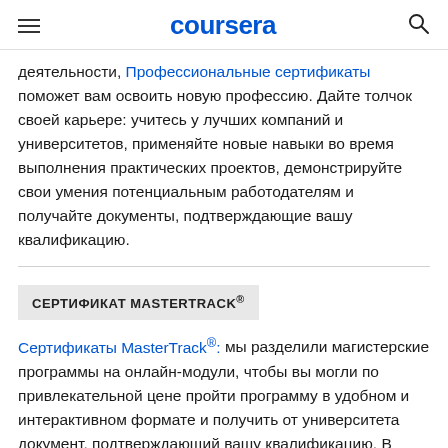coursera
деятельности, Профессиональные сертификаты поможет вам освоить новую профессию. Дайте толчок своей карьере: учитесь у лучших компаний и университетов, применяйте новые навыки во время выполнения практических проектов, демонстрируйте свои умения потенциальным работодателям и получайте документы, подтверждающие вашу квалификацию.
СЕРТИФИКАТ MASTERTRACK®
Сертификаты MasterTrack®: мы разделили магистерские программы на онлайн-модули, чтобы вы могли по привлекательной цене пройти программу в удобном и интерактивном формате и получить от университета документ, подтверждающий вашу квалификацию. В каждой программе вас ждет интересный учебный процесс с ведущими преподавателями и проектами на основе реальных проблем. Если вы переходите на